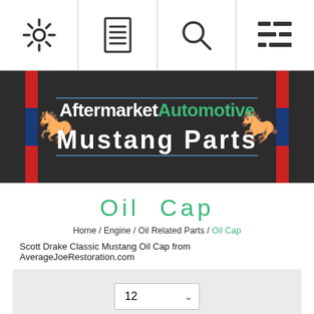[Figure (screenshot): Top navigation bar with four icons: settings gear, document/menu, search magnifier, and list/filter icon]
[Figure (logo): Aftermarket Automotive Mustang Parts banner logo on dark background with racing stripes and running horse emblems]
Oil Cap
Home / Engine / Oil Related Parts / Oil Cap
Scott Drake Classic Mustang Oil Cap from AverageJoeRestoration.com
[Figure (screenshot): Dropdown selector showing value 12 with arrow]